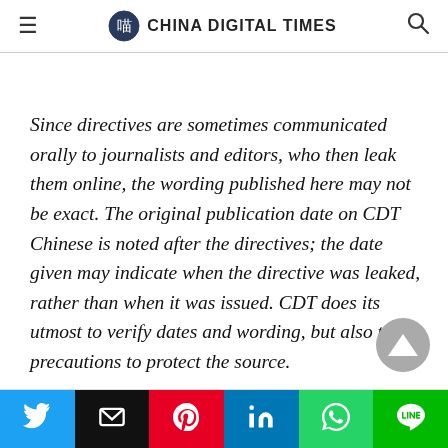CHINA DIGITAL TIMES
Since directives are sometimes communicated orally to journalists and editors, who then leak them online, the wording published here may not be exact. The original publication date on CDT Chinese is noted after the directives; the date given may indicate when the directive was leaked, rather than when it was issued. CDT does its utmost to verify dates and wording, but also takes precautions to protect the source.